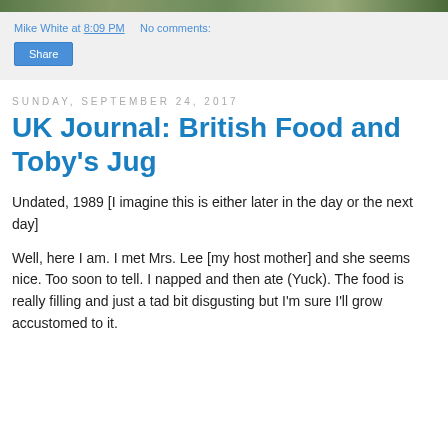[Figure (photo): Partial photo strip at top of page showing outdoor scene]
Mike White at 8:09 PM   No comments:
Share
Sunday, September 24, 2017
UK Journal: British Food and Toby's Jug
Undated, 1989 [I imagine this is either later in the day or the next day]
Well, here I am. I met Mrs. Lee [my host mother] and she seems nice. Too soon to tell. I napped and then ate (Yuck). The food is really filling and just a tad bit disgusting but I'm sure I'll grow accustomed to it.